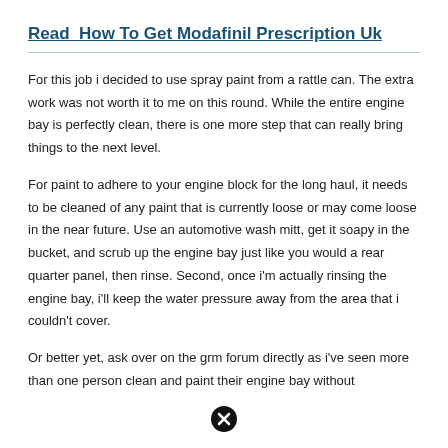Read  How To Get Modafinil Prescription Uk
For this job i decided to use spray paint from a rattle can. The extra work was not worth it to me on this round. While the entire engine bay is perfectly clean, there is one more step that can really bring things to the next level.
For paint to adhere to your engine block for the long haul, it needs to be cleaned of any paint that is currently loose or may come loose in the near future. Use an automotive wash mitt, get it soapy in the bucket, and scrub up the engine bay just like you would a rear quarter panel, then rinse. Second, once i'm actually rinsing the engine bay, i'll keep the water pressure away from the area that i couldn't cover.
Or better yet, ask over on the grm forum directly as i've seen more than one person clean and paint their engine bay without